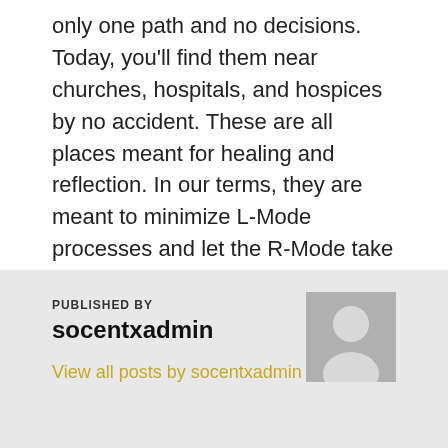only one path and no decisions. Today, you'll find them near churches, hospitals, and hospices by no accident. These are all places meant for healing and reflection. In our terms, they are meant to minimize L-Mode processes and let the R-Mode take over with a stream of consciousness. A walk on a solitary beach or a quiet woods has the same affect. Ironically, the key on these walks is to not actually think about the problem.
PUBLISHED BY
socentxadmin
View all posts by socentxadmin